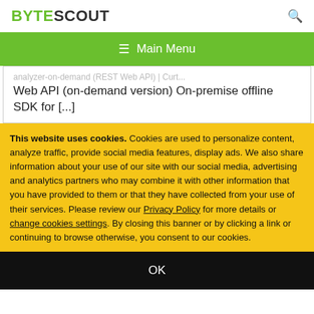BYTESCOUT
☰ Main Menu
analyzer-on-demand (REST Web API) | Current... Web API (on-demand version) On-premise offline SDK for [...]
This website uses cookies. Cookies are used to personalize content, analyze traffic, provide social media features, display ads. We also share information about your use of our site with our social media, advertising and analytics partners who may combine it with other information that you have provided to them or that they have collected from your use of their services. Please review our Privacy Policy for more details or change cookies settings. By closing this banner or by clicking a link or continuing to browse otherwise, you consent to our cookies.
OK